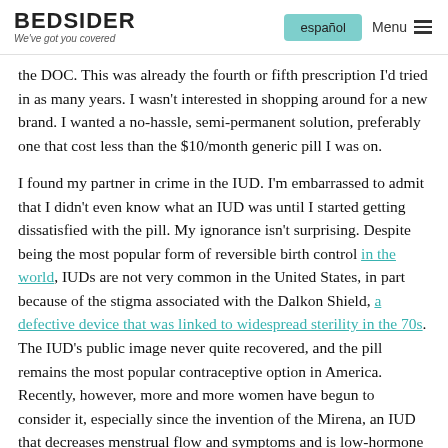BEDSIDER — We've got you covered | español | Menu
the DOC. This was already the fourth or fifth prescription I'd tried in as many years. I wasn't interested in shopping around for a new brand. I wanted a no-hassle, semi-permanent solution, preferably one that cost less than the $10/month generic pill I was on.
I found my partner in crime in the IUD. I'm embarrassed to admit that I didn't even know what an IUD was until I started getting dissatisfied with the pill. My ignorance isn't surprising. Despite being the most popular form of reversible birth control in the world, IUDs are not very common in the United States, in part because of the stigma associated with the Dalkon Shield, a defective device that was linked to widespread sterility in the 70s. The IUD's public image never quite recovered, and the pill remains the most popular contraceptive option in America. Recently, however, more and more women have begun to consider it, especially since the invention of the Mirena, an IUD that decreases menstrual flow and symptoms and is low-hormone compared to the pill. I first learned about the Mirena after my friend Christina got it, but I assumed most women, including my